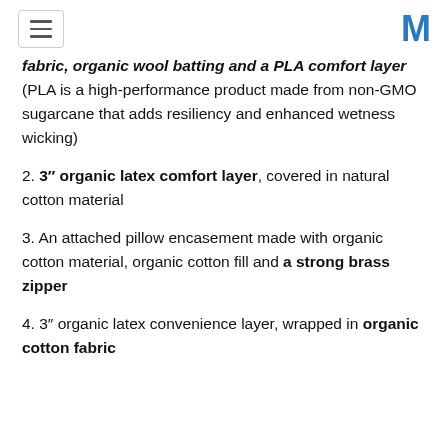[hamburger menu icon] [M logo]
fabric, organic wool batting and a PLA comfort layer (PLA is a high-performance product made from non-GMO sugarcane that adds resiliency and enhanced wetness wicking)
2. 3″ organic latex comfort layer, covered in natural cotton material
3. An attached pillow encasement made with organic cotton material, organic cotton fill and a strong brass zipper
4. 3″ organic latex convenience layer, wrapped in organic cotton fabric